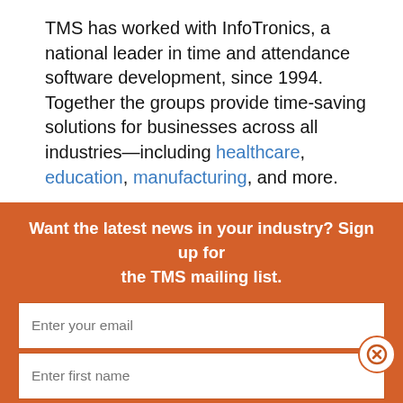TMS has worked with InfoTronics, a national leader in time and attendance software development, since 1994. Together the groups provide time-saving solutions for businesses across all industries—including healthcare, education, manufacturing, and more.
Want the latest news in your industry? Sign up for the TMS mailing list.
[Figure (screenshot): Email signup form with fields: Enter your email, Enter first name, Enter last name, Choose Your Industry (dropdown), Enter company, and a Subscribe button. A close (X) button appears on the right side.]